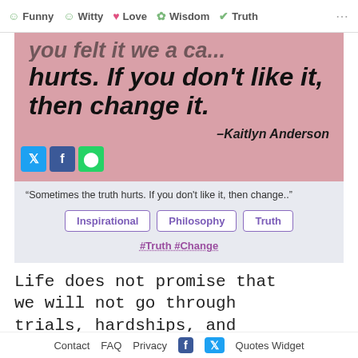Funny  Witty  Love  Wisdom  Truth
[Figure (infographic): Pink quote card with partial text at top cut off, main quote text 'hurts. If you don't like it, then change it.' and attribution '-Kaitlyn Anderson', with Twitter, Facebook, WhatsApp share buttons]
“Sometimes the truth hurts. If you don't like it, then change..”
Inspirational
Philosophy
Truth
#Truth #Change
Life does not promise that we will not go through trials, hardships, and testing of our own personal
Contact  FAQ  Privacy  [Facebook]  [Twitter]  Quotes Widget